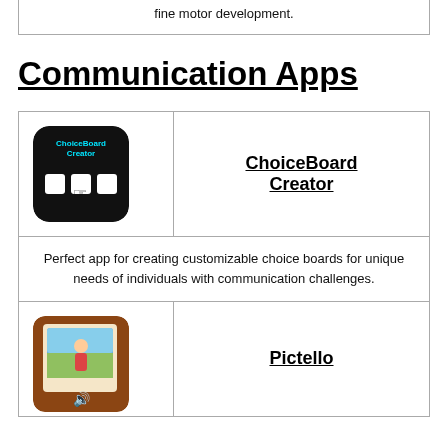fine motor development.
Communication Apps
| Icon | App Name |
| --- | --- |
| [ChoiceBoard Creator icon] | ChoiceBoard Creator |
| [Description] | Perfect app for creating customizable choice boards for unique needs of individuals with communication challenges. |
| [Pictello icon] | Pictello |